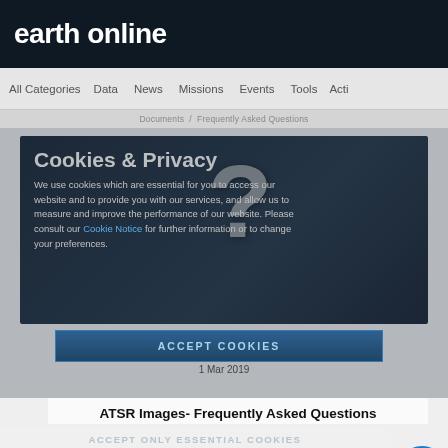earth online
All Categories  Data  News  Missions  Events  Tools  Acti
Documents  Frequently Asked Questions
[Figure (screenshot): Cookies & Privacy overlay panel with dark background and large question mark graphic, showing cookie consent text and Accept Cookies button dated 1 Mar 2019]
ATSR Images- Frequently Asked Questions
The purpose of this guide is to help users of the ATSR gridded brightness temperature products diagnose the cause of the most frequently